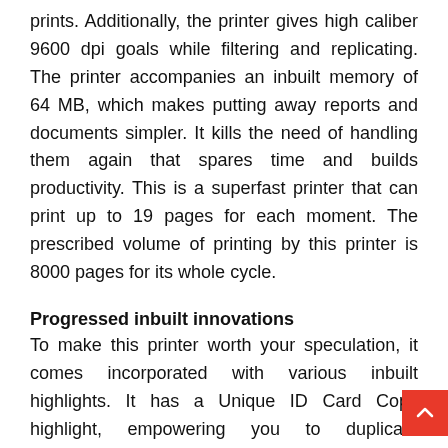prints. Additionally, the printer gives high caliber 9600 dpi goals while filtering and replicating. The printer accompanies an inbuilt memory of 64 MB, which makes putting away reports and documents simpler. It kills the need of handling them again that spares time and builds productivity. This is a superfast printer that can print up to 19 pages for each moment. The prescribed volume of printing by this printer is 8000 pages for its whole cycle.
Progressed inbuilt innovations
To make this printer worth your speculation, it comes incorporated with various inbuilt highlights. It has a Unique ID Card Copy highlight, empowering you to duplicate recognizable proof cards on uneven sheet effortlessly. To accelerate the procedure, you can utilize Quick First Print include, which gives highly contrasting print in simply 10 minutes. You can get